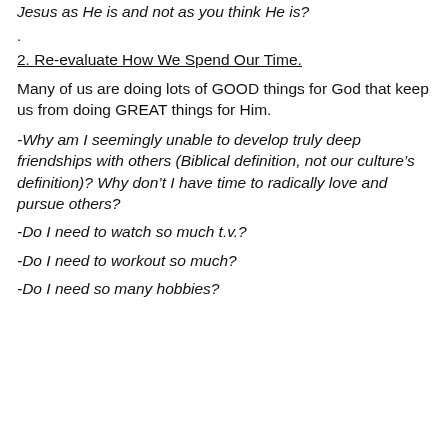Jesus as He is and not as you think He is?
.
2. Re-evaluate How We Spend Our Time.
Many of us are doing lots of GOOD things for God that keep us from doing GREAT things for Him.
-Why am I seemingly unable to develop truly deep friendships with others (Biblical definition, not our culture’s definition)? Why don’t I have time to radically love and pursue others?
-Do I need to watch so much t.v.?
-Do I need to workout so much?
-Do I need so many hobbies?